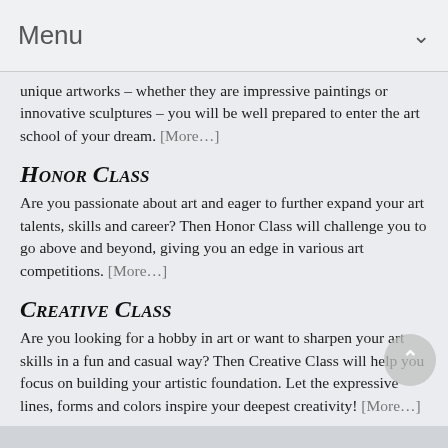Menu
unique artworks – whether they are impressive paintings or innovative sculptures – you will be well prepared to enter the art school of your dream. [More…]
Honor Class
Are you passionate about art and eager to further expand your art talents, skills and career? Then Honor Class will challenge you to go above and beyond, giving you an edge in various art competitions. [More…]
Creative Class
Are you looking for a hobby in art or want to sharpen your art skills in a fun and casual way? Then Creative Class will help you focus on building your artistic foundation. Let the expressive lines, forms and colors inspire your deepest creativity! [More…]
Contact Us
Let us know about your questions or thoughts about any of the classes you are interested in!